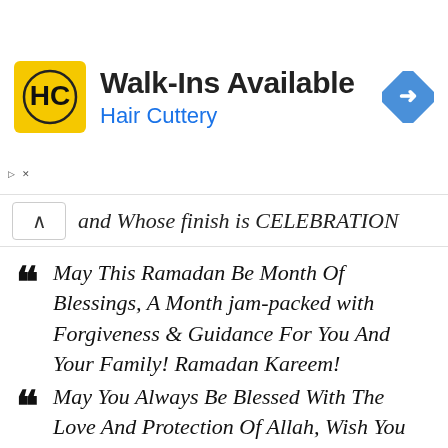[Figure (screenshot): Hair Cuttery advertisement banner with yellow HC logo, 'Walk-Ins Available' heading, 'Hair Cuttery' subheading in blue, and a blue diamond navigation arrow icon on the right]
and Whose finish is CELEBRATION
May This Ramadan Be Month Of Blessings, A Month jam-packed with Forgiveness & Guidance For You And Your Family! Ramadan Kareem!
May You Always Be Blessed With The Love And Protection Of Allah, Wish You